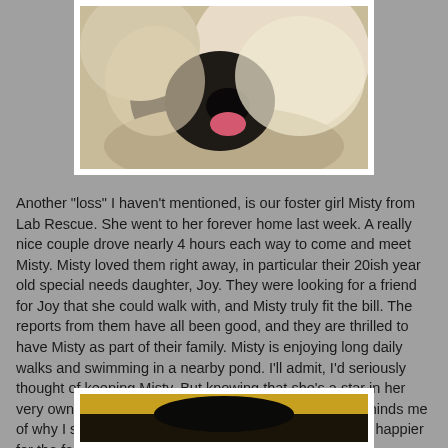[Figure (photo): Close-up photo of a light-colored dog (likely a Labrador or similar breed) resting its head, with visible nose and pink tongue, on what appears to be a pillow or blanket. Photo has white border/frame.]
Another "loss" I haven't mentioned, is our foster girl Misty from Lab Rescue. She went to her forever home last week. A really nice couple drove nearly 4 hours each way to come and meet Misty.  Misty loved them right away, in particular their 20ish year old special needs daughter, Joy. They were looking for a friend for Joy that she could walk with, and Misty truly fit the bill. The reports from them have all been good, and they are thrilled to have Misty as part of their family. Misty is enjoying long daily walks and swimming in a nearby pond.  I'll admit, I'd seriously thought of keeping Misty. But knowing that she's a star in her very own home, and a friend and companion to Joy, reminds me of why I shouldn't have. She is missed, but I couldn't be happier for the family and for Misty.
[Figure (photo): Partial photo of a dark-colored dog, showing the top portion against a warm golden/yellow background. Photo has white border/frame. Only partly visible at bottom of page.]